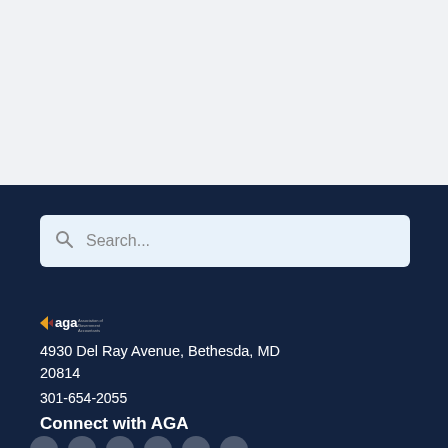[Figure (other): Search bar with magnifying glass icon and placeholder text 'Search...' on a light blue background]
[Figure (logo): AGA (Association of Government Accountants) logo with arrow and text on dark navy background]
4930 Del Ray Avenue, Bethesda, MD 20814
301-654-2055
Connect with AGA
[Figure (other): Row of circular social media icon buttons (partially visible at bottom of page)]